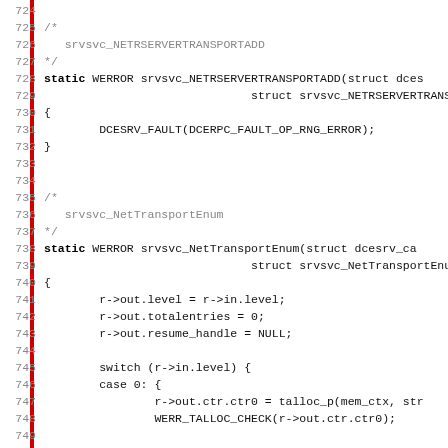[Figure (screenshot): Source code listing showing C functions srvsvc_NETRSERVERTRANSPORTADD and srvsvc_NetTransportEnum, lines 724-755, with line numbers in gray on the left and a red vertical bar on the far left margin.]